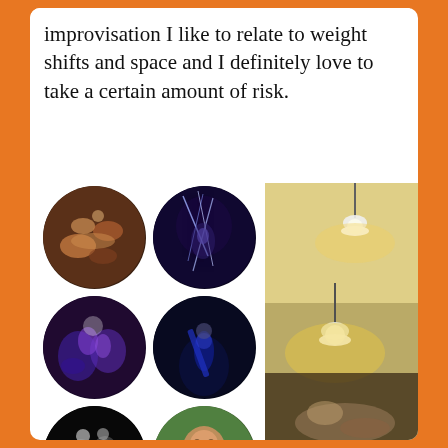improvisation I like to relate to weight shifts and space and I definitely love to take a certain amount of risk.
[Figure (photo): Six circular-cropped dance and portrait photos arranged in a 2x3 grid. Top row: acrobatic dancers (warm light), electric/light effect dance performance. Middle row: two dancers in purple/blue stage lighting, solo musician/performer with instrument in blue light. Bottom row: black-and-white dance duo photo, portrait of bearded man with flower.]
[Figure (photo): Vertical photo on right side showing interior room with two hanging pendant lamps on ceiling, warm yellow glow, and a reclining person visible at bottom of frame.]